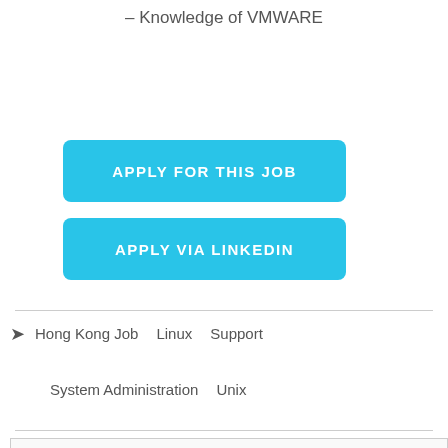– Knowledge of VMWARE
[Figure (other): Blue button labeled APPLY FOR THIS JOB]
[Figure (other): Blue button labeled APPLY VIA LINKEDIN]
Hong Kong Job   Linux   Support   System Administration   Unix